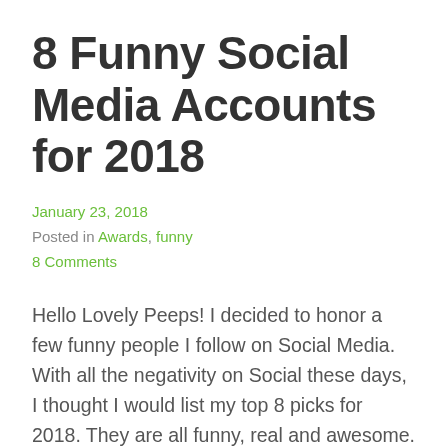8 Funny Social Media Accounts for 2018
January 23, 2018
Posted in Awards, funny
8 Comments
Hello Lovely Peeps! I decided to honor a few funny people I follow on Social Media. With all the negativity on Social these days, I thought I would list my top 8 picks for 2018. They are all funny, real and awesome. If I'm having a bad day or someone pisses me off, these accounts… Continue reading